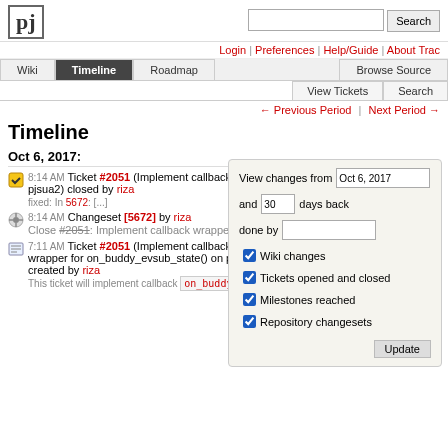[Figure (logo): pj logo box]
Login | Preferences | Help/Guide | About Trac
Wiki | Timeline | Roadmap | Browse Source | View Tickets | Search
← Previous Period | Next Period →
Timeline
Oct 6, 2017:
8:14 AM Ticket #2051 (Implement callback wrapper for on_buddy_evsub_state() on pjsua2) closed by riza
fixed: In 5672: [...]
8:14 AM Changeset [5672] by riza
Close #2051: Implement callback wrapper for on_buddy_evsub_state() on ...
7:11 AM Ticket #2051 (Implement callback wrapper for on_buddy_evsub_state() on pjsua2) created by riza
This ticket will implement callback on_buddy_evsub_state() for pjsua2
View changes from Oct 6, 2017 and 30 days back done by. Wiki changes. Tickets opened and closed. Milestones reached. Repository changesets. Update.